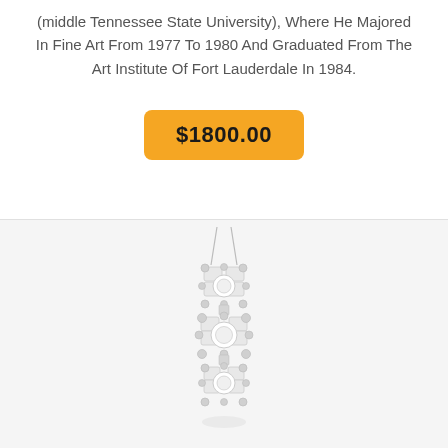(middle Tennessee State University), Where He Majored In Fine Art From 1977 To 1980 And Graduated From The Art Institute Of Fort Lauderdale In 1984.
$1800.00
[Figure (photo): A diamond pendant necklace with three stacked diamond clusters in a vertical arrangement, suspended from a silver chain, on a white background.]